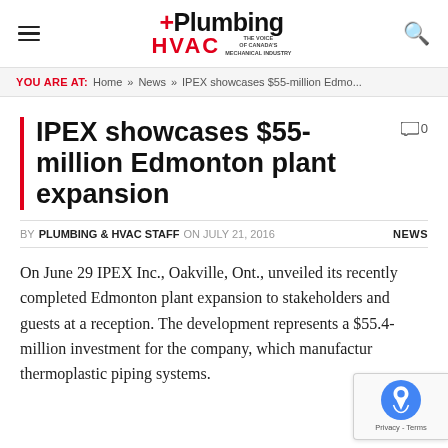Plumbing +HVAC — THE VOICE OF CANADA'S MECHANICAL INDUSTRY
YOU ARE AT: Home » News » IPEX showcases $55-million Edmo...
IPEX showcases $55-million Edmonton plant expansion
BY PLUMBING & HVAC STAFF ON JULY 21, 2016 NEWS
On June 29 IPEX Inc., Oakville, Ont., unveiled its recently completed Edmonton plant expansion to stakeholders and guests at a reception. The development represents a $55.4-million investment for the company, which manufactures thermoplastic piping systems.